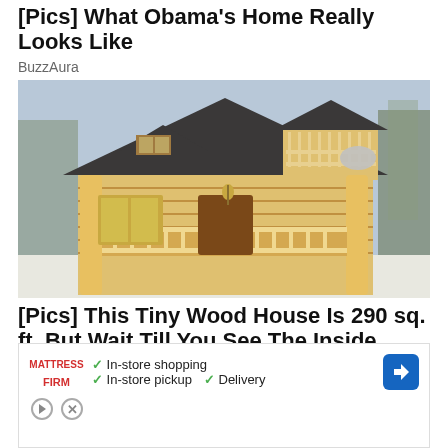[Pics] What Obama's Home Really Looks Like
BuzzAura
[Figure (photo): Exterior photo of a wooden log cabin house with a steep dark roof, balcony railing, front porch, and trees in the background. The cabin is made of light-colored natural logs.]
[Pics] This Tiny Wood House Is 290 sq. ft. But Wait Till You See The Inside
[Figure (infographic): Advertisement for Mattress Firm showing checkmarks next to 'In-store shopping', 'In-store pickup', and 'Delivery', with the Mattress Firm logo and a blue navigation arrow icon, along with a play button icon and close icon at the bottom.]